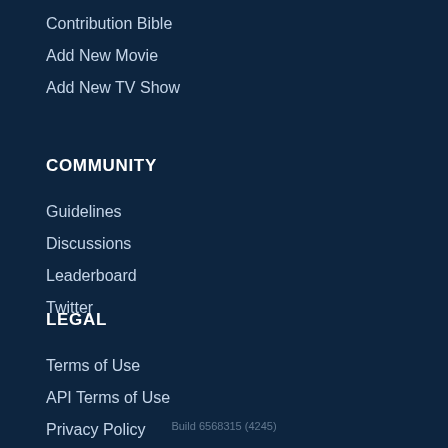Contribution Bible
Add New Movie
Add New TV Show
COMMUNITY
Guidelines
Discussions
Leaderboard
Twitter
LEGAL
Terms of Use
API Terms of Use
Privacy Policy
Build 6568315 (4245)